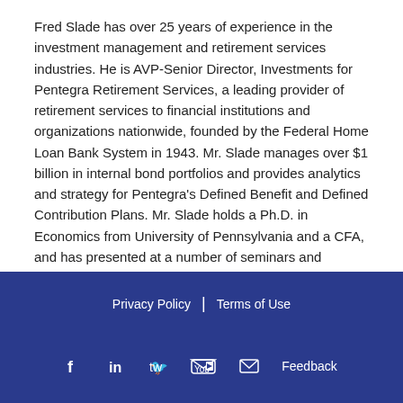Fred Slade has over 25 years of experience in the investment management and retirement services industries. He is AVP-Senior Director, Investments for Pentegra Retirement Services, a leading provider of retirement services to financial institutions and organizations nationwide, founded by the Federal Home Loan Bank System in 1943. Mr. Slade manages over $1 billion in internal bond portfolios and provides analytics and strategy for Pentegra's Defined Benefit and Defined Contribution Plans. Mr. Slade holds a Ph.D. in Economics from University of Pennsylvania and a CFA, and has presented at a number of seminars and conferences.
Share On:
[Figure (infographic): Social share buttons: Facebook (dark blue), Twitter (light blue), LinkedIn (blue)]
Privacy Policy | Terms of Use  [Facebook] [LinkedIn] [Twitter] [YouTube] [Email] Feedback